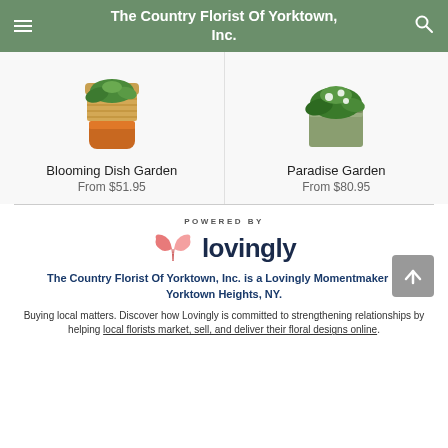The Country Florist Of Yorktown, Inc.
Blooming Dish Garden
From $51.95
Paradise Garden
From $80.95
[Figure (logo): Powered By Lovingly logo with pink heart/ribbon icon and dark navy bold text 'lovingly']
The Country Florist Of Yorktown, Inc. is a Lovingly Momentmaker in Yorktown Heights, NY.
Buying local matters. Discover how Lovingly is committed to strengthening relationships by helping local florists market, sell, and deliver their floral designs online.